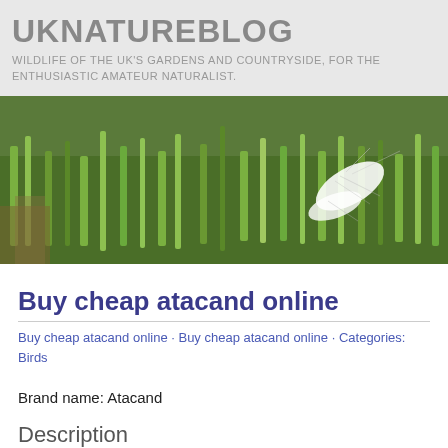UKNATUREBLOG
WILDLIFE OF THE UK'S GARDENS AND COUNTRYSIDE, FOR THE ENTHUSIASTIC AMATEUR NATURALIST.
[Figure (photo): Close-up photograph of a white moth or butterfly resting on green grass]
Buy cheap atacand online
Buy cheap atacand online · Buy cheap atacand online · Categories: Birds
Brand name: Atacand
Description